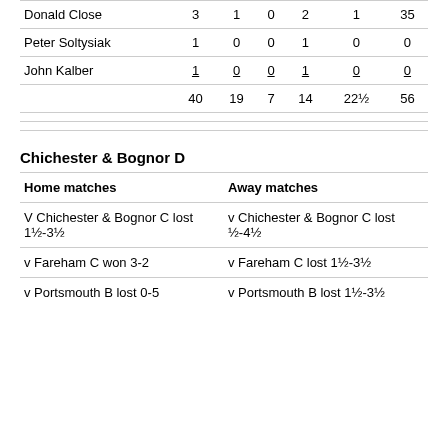| Name | Col1 | Col2 | Col3 | Col4 | Col5 | Col6 |
| --- | --- | --- | --- | --- | --- | --- |
| Donald Close | 3 | 1 | 0 | 2 | 1 | 35 |
| Peter Soltysiak | 1 | 0 | 0 | 1 | 0 | 0 |
| John Kalber | 1 | 0 | 0 | 1 | 0 | 0 |
|  | 40 | 19 | 7 | 14 | 22½ | 56 |
Chichester & Bognor D
| Home matches | Away matches |
| --- | --- |
| V Chichester & Bognor C lost 1½-3½ | v Chichester & Bognor C lost ½-4½ |
| v Fareham C won 3-2 | v Fareham C lost 1½-3½ |
| v Portsmouth B lost 0-5 | v Portsmouth B lost 1½-3½ |